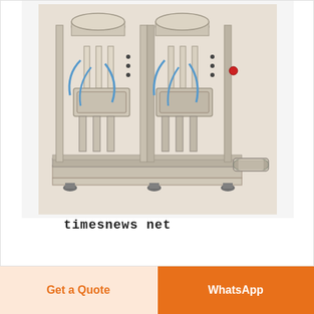[Figure (photo): Industrial filling/packaging machine with two parallel stations, stainless steel frame, pneumatic cylinders, tubing and hoppers on top, mounted on a base frame with leveling feet and a small conveyor belt on the right side.]
timesnews net
Get a Quote
WhatsApp